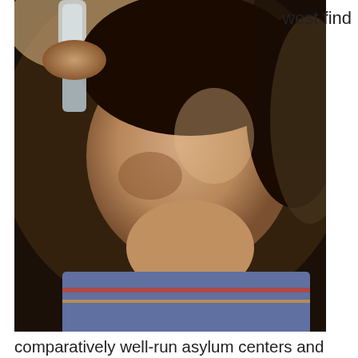[Figure (photo): Close-up photo of a young person drinking water from a plastic bottle, wearing a striped shirt, dark background]
west find
comparatively well-run asylum centers and generous resettlement policies. But these harder-to-reach countries often cater to migrants who have the wherewithal to navigate entry-point states with safe air passage with the assistance of smugglers.
These countries still remain inaccessible to many migrants seeking international protection. As with